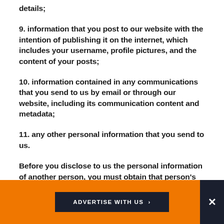details;
9. information that you post to our website with the intention of publishing it on the internet, which includes your username, profile pictures, and the content of your posts;
10. information contained in any communications that you send to us by email or through our website, including its communication content and metadata;
11. any other personal information that you send to us.
Before you disclose to us the personal information of another person, you must obtain that person's
ADVERTISE WITH US >